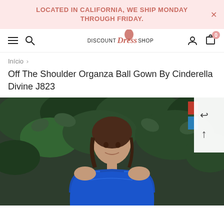LOCATED IN CALIFORNIA, WE SHIP MONDAY THROUGH FRIDAY.
[Figure (screenshot): Discount Dress Shop navigation bar with hamburger menu, search icon, logo, account icon, and cart icon showing 0 items]
Início >
Off The Shoulder Organza Ball Gown By Cinderella Divine J823
[Figure (photo): Woman wearing a royal blue off-the-shoulder organza ball gown, posed in front of green foliage. Color swatches visible on the right side of the image.]